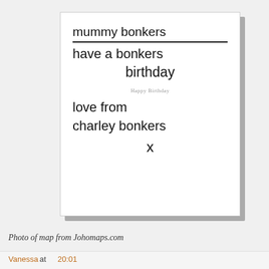[Figure (photo): A handwritten birthday card on white paper. Text reads: 'mummy bonkers' (underlined), 'have a bonkers birthday', 'Happy Birthday' (printed small), 'love from charley bonkers x']
Photo of map from Johomaps.com
Vanessa at 20:01